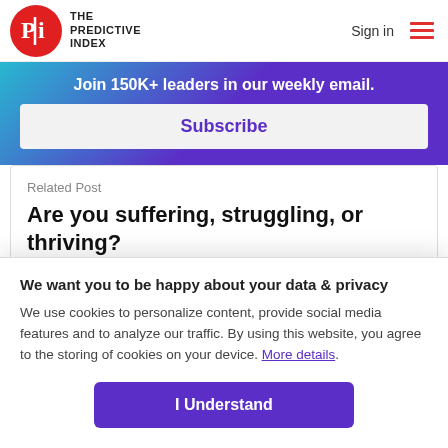THE PREDICTIVE INDEX | Sign in
Join 150K+ leaders in our weekly email.
Subscribe
Related Post
Are you suffering, struggling, or thriving?
We want you to be happy about your data & privacy
We use cookies to personalize content, provide social media features and to analyze our traffic. By using this website, you agree to the storing of cookies on your device. More details.
I Understand